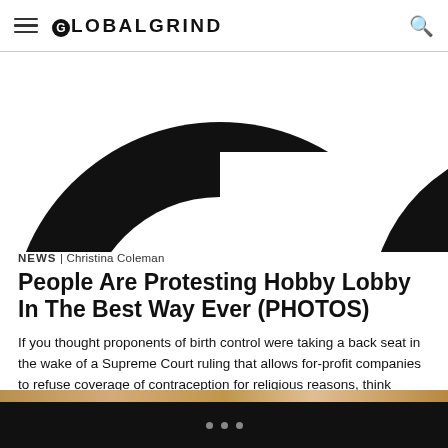GLOBALGRIND
[Figure (logo): Partial GlobalGrind logo — large black 'G' and partial circular letter visible, cropped]
NEWS | Christina Coleman
People Are Protesting Hobby Lobby In The Best Way Ever (PHOTOS)
If you thought proponents of birth control were taking a back seat in the wake of a Supreme Court ruling that allows for-profit companies to refuse coverage of contraception for religious reasons, think again. In the most creative, delightfully shady and crafty way, women who are deemed less human than corporations (and their supporters) have taken to Hobby Lobby's [...]
[Figure (photo): Partial view of a wooden surface with a book or card, cropped at bottom of page]